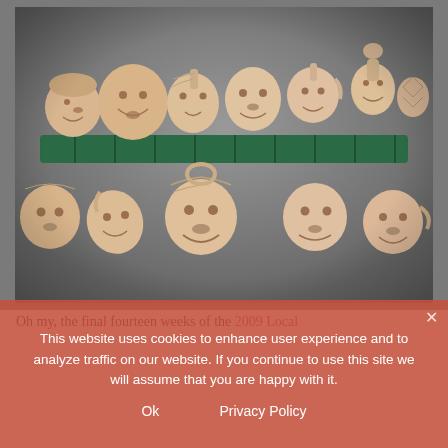[Figure (photo): A collection of approximately 15 unfired clay ceramic face sculptures and vessels arranged on and around a green plastic rack/shelf. The sculptures include various human faces with different expressions and styles, some combined with jug or vase forms. All are in a pinkish-cream raw clay color. Background is grey.]
Oh my, the final fourteen weeks of the 2009 Local [text partially obscured by cookie overlay]
This website uses cookies to enhance user experience and to analyze traffic on our website. If you continue to use this site we will assume that you are happy with it.
Ok    Privacy Policy